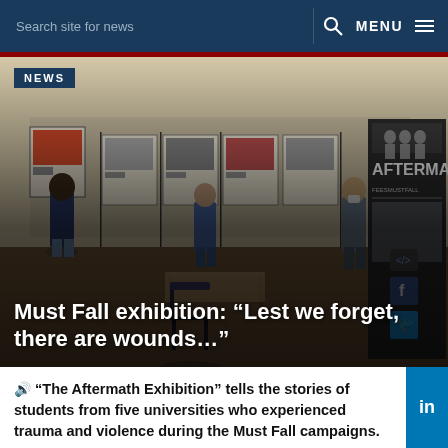Search site for news   MENU
[Figure (photo): Interior of an exhibition hall with people viewing artworks displayed on panels and walls. A large roll-up banner reading 'AFTERMATH' (FeesMustFall) is visible on the right. People are wearing masks and browsing the exhibition.]
Must Fall exhibition: “Lest we forget, there are wounds…”
“The Aftermath Exhibition” tells the stories of students from five universities who experienced trauma and violence during the Must Fall campaigns.